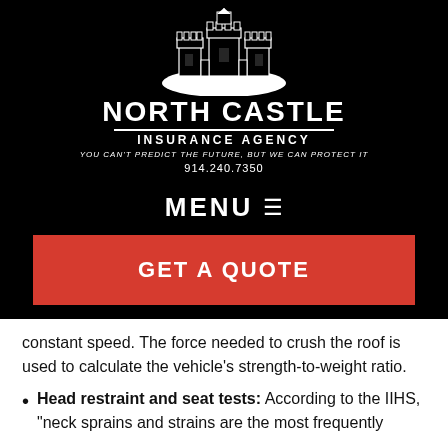[Figure (logo): North Castle Insurance Agency logo — castle illustration in white on black background, with company name, tagline, and phone number]
MENU ☰
GET A QUOTE
constant speed. The force needed to crush the roof is used to calculate the vehicle's strength-to-weight ratio.
Head restraint and seat tests: According to the IIHS, "neck sprains and strains are the most frequently